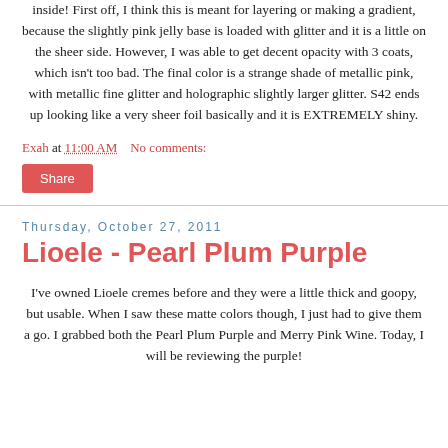inside! First off, I think this is meant for layering or making a gradient, because the slightly pink jelly base is loaded with glitter and it is a little on the sheer side. However, I was able to get decent opacity with 3 coats, which isn't too bad. The final color is a strange shade of metallic pink, with metallic fine glitter and holographic slightly larger glitter. S42 ends up looking like a very sheer foil basically and it is EXTREMELY shiny.
Exah at 11:00 AM    No comments:
Share
Thursday, October 27, 2011
Lioele - Pearl Plum Purple
I've owned Lioele cremes before and they were a little thick and goopy, but usable. When I saw these matte colors though, I just had to give them a go. I grabbed both the Pearl Plum Purple and Merry Pink Wine. Today, I will be reviewing the purple!